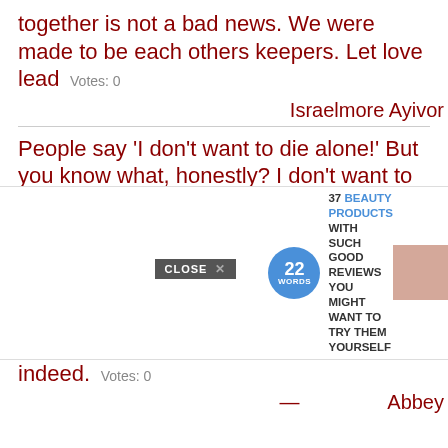together is not a bad news. We were made to be each others keepers. Let love lead   Votes: 0
Israelmore Ayivor
People say 'I don't want to die alone!' But you know what, honestly? I don't want to die with a bunch of people looking at me.   Votes: 0
Bradford Cox
To die alone, on rock under sun at the brink of the unknown, like a wolf, like a great bird, seems to me very good fortune indeed.   Votes: 0
[Figure (other): Advertisement banner: '37 BEAUTY PRODUCTS WITH SUCH GOOD REVIEWS YOU MIGHT WANT TO TRY THEM YOURSELF' from 22 Words, with a CLOSE button]
You a... ... life, the side I never see, and you will be that, the unknown part of me, until I die...